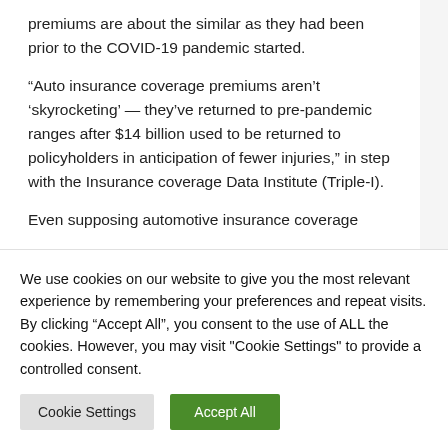premiums are about the similar as they had been prior to the COVID-19 pandemic started.
“Auto insurance coverage premiums aren’t ‘skyrocketing’ — they’ve returned to pre-pandemic ranges after $14 billion used to be returned to policyholders in anticipation of fewer injuries,” in step with the Insurance coverage Data Institute (Triple-I).
Even supposing automotive insurance coverage
We use cookies on our website to give you the most relevant experience by remembering your preferences and repeat visits. By clicking “Accept All”, you consent to the use of ALL the cookies. However, you may visit "Cookie Settings" to provide a controlled consent.